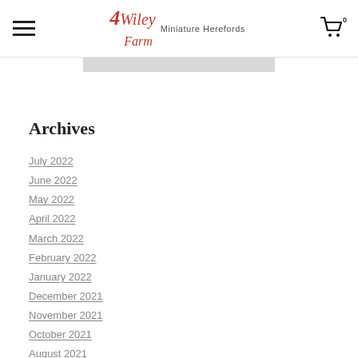4Wiley Farm Miniature Herefords
Archives
July 2022
June 2022
May 2022
April 2022
March 2022
February 2022
January 2022
December 2021
November 2021
October 2021
August 2021
July 2021